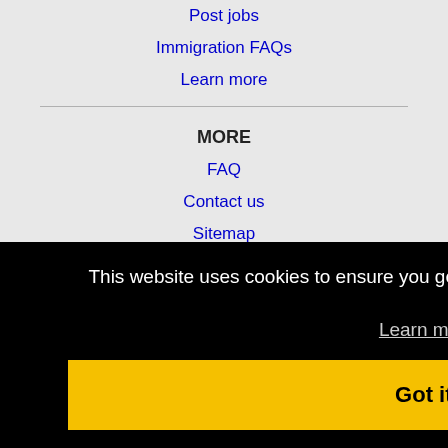Post jobs
Immigration FAQs
Learn more
MORE
FAQ
Contact us
Sitemap
Legal
This website uses cookies to ensure you get the best experience on our website.
Learn more
Got it!
Wauwatosa, WI Jobs